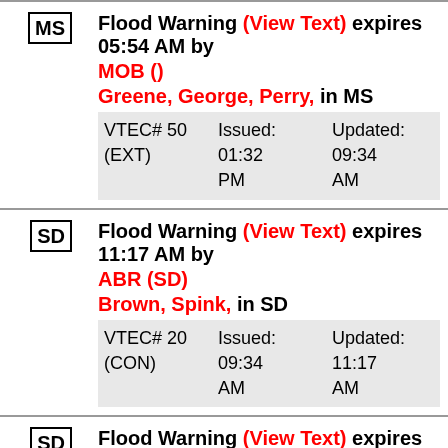MS Flood Warning (View Text) expires 05:54 AM by MOB () Greene, George, Perry, in MS VTEC# 50 (EXT) Issued: 01:32 PM Updated: 09:34 AM
SD Flood Warning (View Text) expires 11:17 AM by ABR (SD) Brown, Spink, in SD VTEC# 20 (CON) Issued: 09:34 AM Updated: 11:17 AM
SD Flood Warning (View Text) expires 11:17 AM by ABR (SD) Brown, in SD VTEC# 21 (CON) Issued: 09:34 AM Updated: 11:17 AM